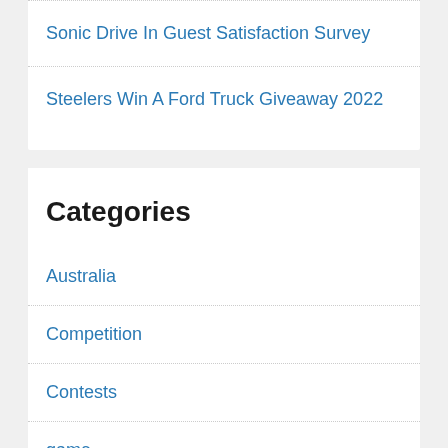Sonic Drive In Guest Satisfaction Survey
Steelers Win A Ford Truck Giveaway 2022
Categories
Australia
Competition
Contests
game